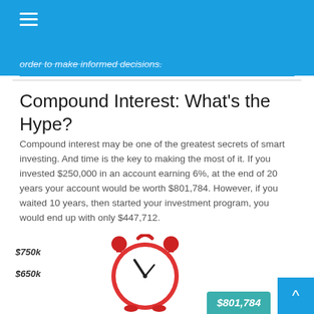order to make informed decisions.
Compound Interest: What's the Hype?
Compound interest may be one of the greatest secrets of smart investing. And time is the key to making the most of it. If you invested $250,000 in an account earning 6%, at the end of 20 years your account would be worth $801,784. However, if you waited 10 years, then started your investment program, you would end up with only $447,712.
[Figure (infographic): Red alarm clock illustration alongside a bar chart showing compound interest growth values. Y-axis labels show $750k and $650k. A teal banner shows $801,784.]